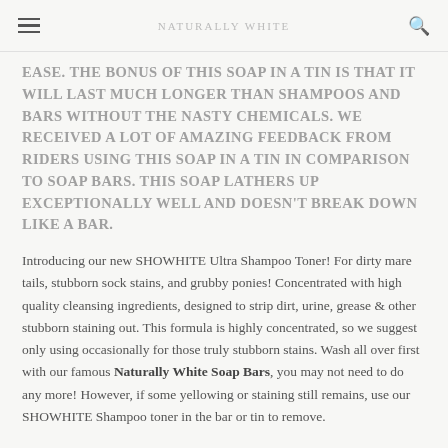NATURALLY WHITE
EASE. THE BONUS OF THIS SOAP IN A TIN IS THAT IT WILL LAST MUCH LONGER THAN SHAMPOOS AND BARS WITHOUT THE NASTY CHEMICALS. WE RECEIVED A LOT OF AMAZING FEEDBACK FROM RIDERS USING THIS SOAP IN A TIN IN COMPARISON TO SOAP BARS. THIS SOAP LATHERS UP EXCEPTIONALLY WELL AND DOESN'T BREAK DOWN LIKE A BAR.
Introducing our new SHOWHITE Ultra Shampoo Toner! For dirty mare tails, stubborn sock stains, and grubby ponies! Concentrated with high quality cleansing ingredients, designed to strip dirt, urine, grease & other stubborn staining out. This formula is highly concentrated, so we suggest only using occasionally for those truly stubborn stains. Wash all over first with our famous Naturally White Soap Bars, you may not need to do any more! However, if some yellowing or staining still remains, use our SHOWHITE Shampoo toner in the bar or tin to remove.
Ingredients of finally ground volcanic pumice, lavender essential oil, lemongrass oil, lemon oil and tea tree oil will leave a beautiful fresh